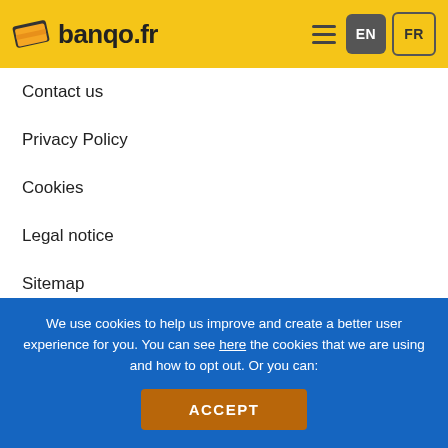banqo.fr
Contact us
Privacy Policy
Cookies
Legal notice
Sitemap
Credit cards
Credit cards insurance
Credit cards discounts
We use cookies to help us improve and create a better user experience for you. You can see here the cookies that we are using and how to opt out. Or you can:
ACCEPT